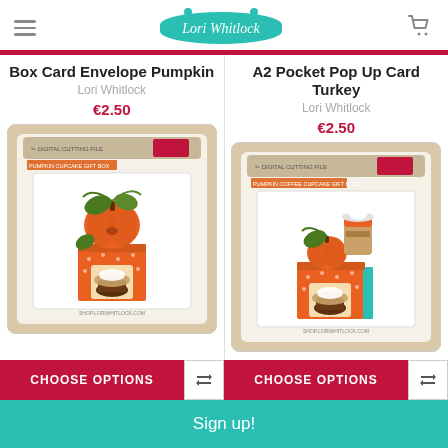Lori Whitlock
Box Card Envelope Pumpkin
Lori Whitlock
€2.50
[Figure (photo): Pumpkin Cupcake Gift Box product packaging image showing an orange box with pumpkin decoration and a cupcake inside]
A2 Pocket Pop Up Card Turkey
Lori Whitlock
€2.50
[Figure (photo): Pumpkin Coffee Cupcake Gift Box product packaging image showing an orange box with pumpkin and coffee cup decoration and a cupcake inside]
CHOOSE OPTIONS
CHOOSE OPTIONS
Sign up!